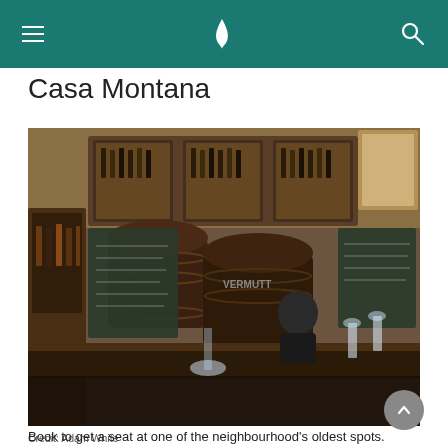Navigation bar with hamburger menu, Cathay Pacific logo, and search icon
Casa Montana
[Figure (photo): Interior of Casa Montana bar: wooden wine barrels behind bar counter, glass-fronted cabinets filled with wine bottles, chalkboard menus, a bartender in glasses checking his phone, foreground shows customers raising glasses for a toast.]
Credit: Adam White
Book to get a seat at one of the neighbourhood's oldest spots.